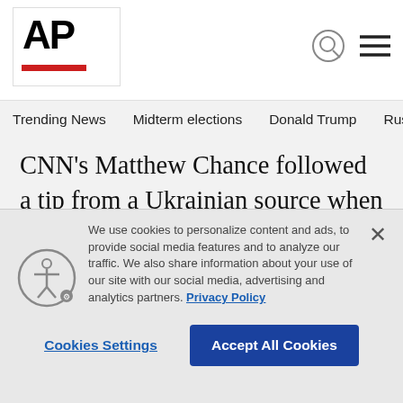AP
Trending News  Midterm elections  Donald Trump  Russia-Ukr
CNN's Matthew Chance followed a tip from a Ukrainian source when he and a crew rushed to an airport about 20 miles outside the capital city of Kyiv.
Russians had attacked, but by the time Chance had arrived, he was informed that Ukrainians had regained control of the airport. He approached some soldiers
We use cookies to personalize content and ads, to provide social media features and to analyze our traffic. We also share information about your use of our site with our social media, advertising and analytics partners. Privacy Policy
Cookies Settings  Accept All Cookies